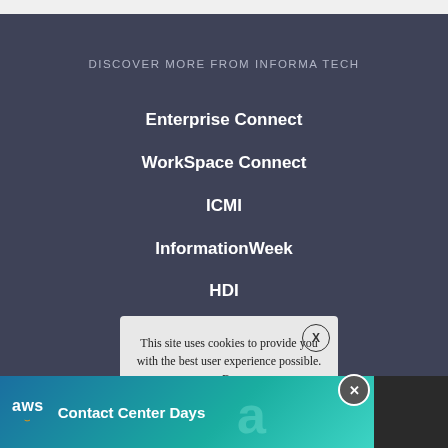DISCOVER MORE FROM INFORMA TECH
Enterprise Connect
WorkSpace Connect
ICMI
InformationWeek
HDI
IT Pro Today
This site uses cookies to provide you with the best user experience possible. By
[Figure (infographic): AWS Contact Center Days advertisement banner with AWS logo on left and bold white text 'Contact Center Days' on a teal/blue gradient background. An X close button appears in the upper right corner and a dark square thumbnail on the far right.]